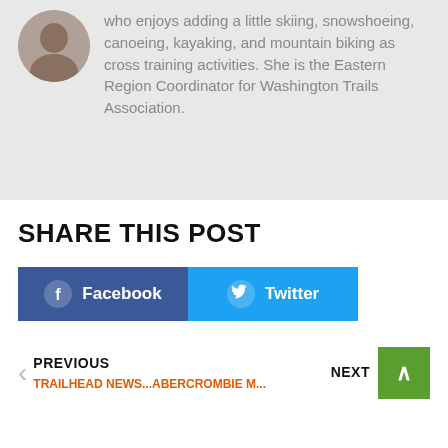who enjoys adding a little skiing, snowshoeing, canoeing, kayaking, and mountain biking as cross training activities. She is the Eastern Region Coordinator for Washington Trails Association.
SHARE THIS POST
[Figure (infographic): Two social share buttons side by side: Facebook (dark blue) and Twitter (light blue), each with icon and label in white bold text.]
PREVIOUS | TRAILHEAD NEWS...ABERCROMBIE M... | NEXT